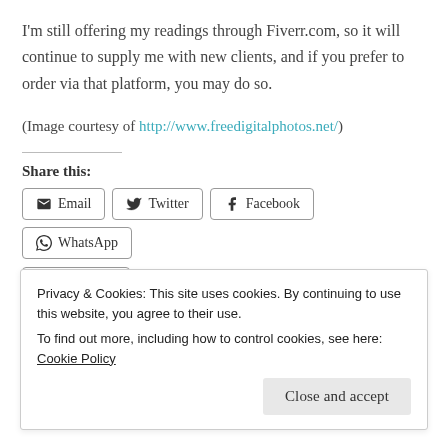I'm still offering my readings through Fiverr.com, so it will continue to supply me with new clients, and if you prefer to order via that platform, you may do so.
(Image courtesy of http://www.freedigitalphotos.net/)
Share this:
Email Twitter Facebook WhatsApp
Privacy & Cookies: This site uses cookies. By continuing to use this website, you agree to their use.
To find out more, including how to control cookies, see here: Cookie Policy
Close and accept